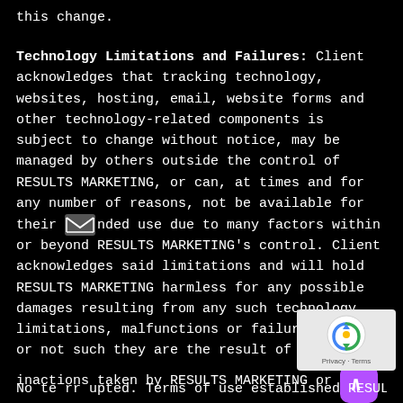this change.
Technology Limitations and Failures: Client acknowledges that tracking technology, websites, hosting, email, website forms and other technology-related components is subject to change without notice, may be managed by others outside the control of RESULTS MARKETING, or can, at times and for any number of reasons, not be available for their intended use due to many factors within or beyond RESULTS MARKETING's control. Client acknowledges said limitations and will hold RESULTS MARKETING harmless for any possible damages resulting from any such technology limitations, malfunctions or failures whether or not such they are the result of actions or inactions taken by RESULTS MARKETING or in RESULTS MARKETING's managerial control.
No te rr upted. Terms of use established RESULTS